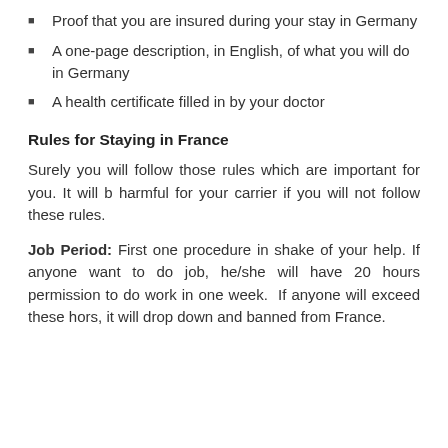Proof that you are insured during your stay in Germany
A one-page description, in English, of what you will do in Germany
A health certificate filled in by your doctor
Rules for Staying in France
Surely you will follow those rules which are important for you. It will b harmful for your carrier if you will not follow these rules.
Job Period: First one procedure in shake of your help. If anyone want to do job, he/she will have 20 hours permission to do work in one week. If anyone will exceed these hors, it will drop down and banned from France.